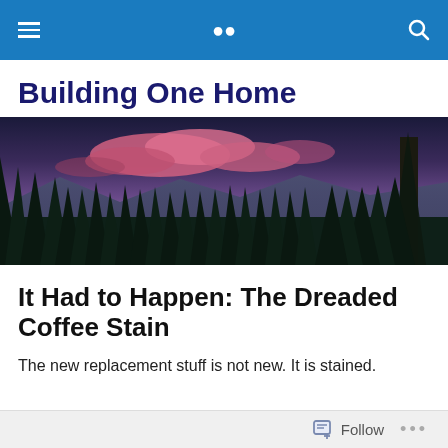Building One Home — navigation bar with hamburger menu and search icon
Building One Home
[Figure (photo): Panoramic landscape photo at dusk showing pine/evergreen trees in the foreground, mountains in the background, and a dramatic pink and purple sky with colorful clouds.]
It Had to Happen: The Dreaded Coffee Stain
The new replacement stuff is not new. It is stained.
Follow   •••